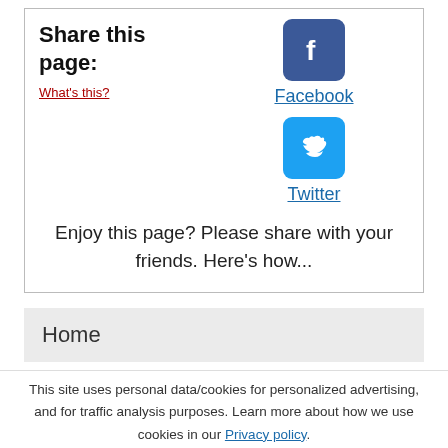Share this page:
What's this?
[Figure (logo): Facebook logo icon — white 'f' on blue rounded square]
Facebook
[Figure (logo): Twitter logo icon — white bird on light-blue rounded square]
Twitter
Enjoy this page? Please share with your friends. Here's how...
Home
This site uses personal data/cookies for personalized advertising, and for traffic analysis purposes. Learn more about how we use cookies in our Privacy policy.
I Agree